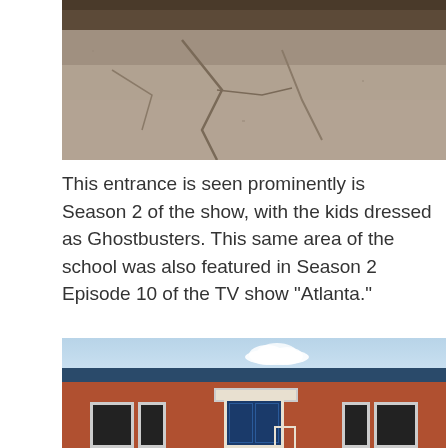[Figure (photo): Photograph of a cracked asphalt school entrance area, with a brick building visible in the background]
This entrance is seen prominently is Season 2 of the show, with the kids dressed as Ghostbusters.  This same area of the school was also featured in Season 2 Episode 10 of the TV show "Atlanta."
[Figure (photo): Photograph of the front entrance of a brick school building with blue double doors, steps, and a canopy, under a partly cloudy sky]